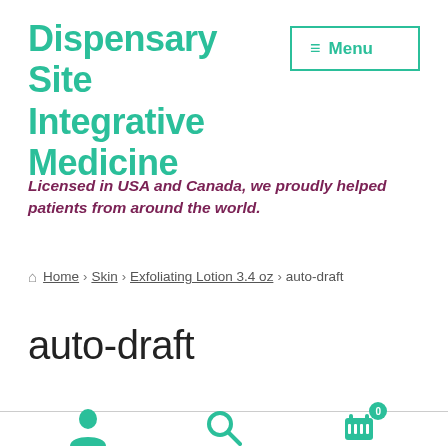Dispensary Site Integrative Medicine
Menu
Licensed in USA and Canada, we proudly helped patients from around the world.
Home › Skin › Exfoliating Lotion 3.4 oz › auto-draft
auto-draft
[Figure (infographic): Bottom navigation bar with user account icon, search icon, and shopping cart icon with badge showing 0]